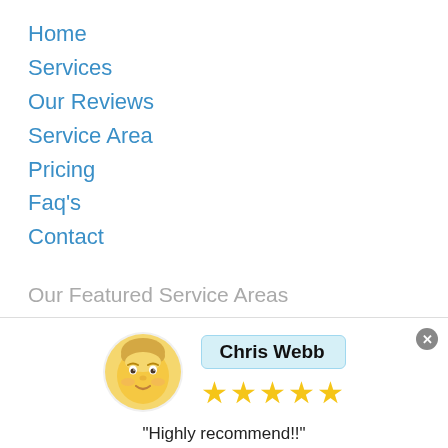Home
Services
Our Reviews
Service Area
Pricing
Faq's
Contact
Our Featured Service Areas
[Figure (other): Review widget showing Chris Webb with 5 stars and the quote 'Highly recommend!!' with a person emoji avatar, powered by LetConvert]